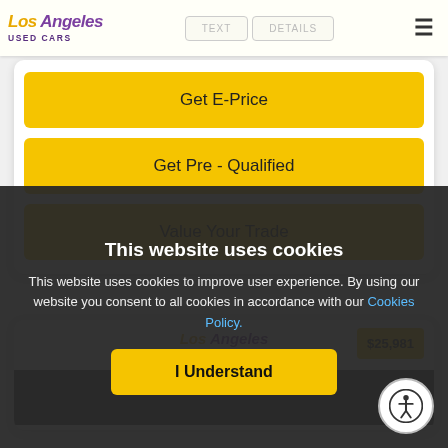[Figure (logo): Los Angeles Used Cars logo with purple and yellow text]
TEXT
DETAILS
Get E-Price
Get Pre - Qualified
Value Your Trade
[Figure (logo): Los Angeles Used Cars logo (partial, second card)]
$25,981
This website uses cookies
This website uses cookies to improve user experience. By using our website you consent to all cookies in accordance with our Cookies Policy.
I Understand